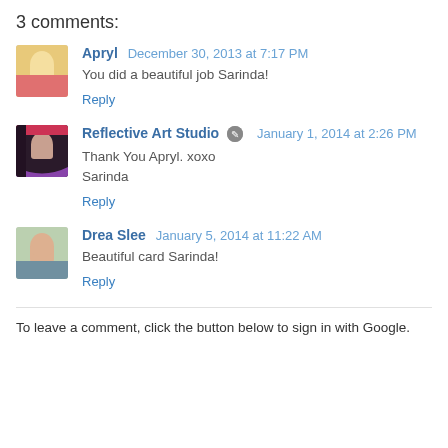3 comments:
Apryl  December 30, 2013 at 7:17 PM
You did a beautiful job Sarinda!
Reply
Reflective Art Studio  January 1, 2014 at 2:26 PM
Thank You Apryl. xoxo
Sarinda
Reply
Drea Slee  January 5, 2014 at 11:22 AM
Beautiful card Sarinda!
Reply
To leave a comment, click the button below to sign in with Google.